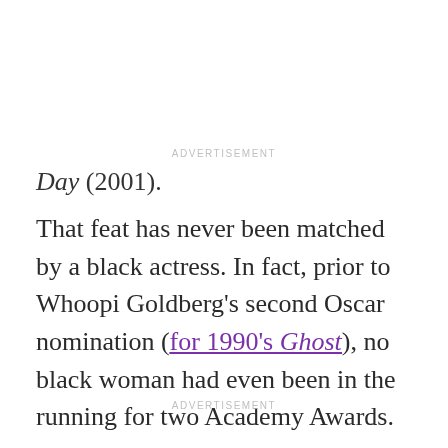ADVERTISEMENT
Day (2001).
That feat has never been matched by a black actress. In fact, prior to Whoopi Goldberg's second Oscar nomination (for 1990's Ghost), no black woman had even been in the running for two Academy Awards.
ADVERTISEMENT